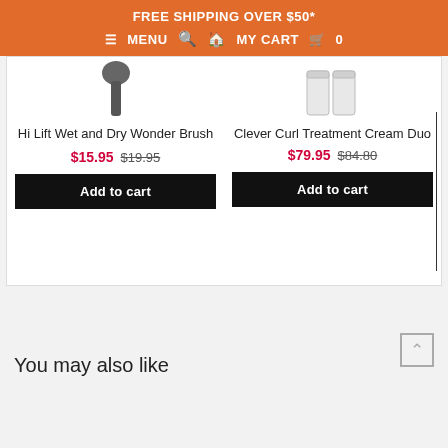FREE SHIPPING OVER $50*
≡ MENU  🔍  🏠  MY CART  🛒  0
[Figure (photo): Product image of Hi Lift Wet and Dry Wonder Brush (partially visible)]
Hi Lift Wet and Dry Wonder Brush
$15.95  $19.95
Add to cart
[Figure (photo): Product image of Clever Curl Treatment Cream Duo — two white bottles (partially visible)]
Clever Curl Treatment Cream Duo
$79.95  $84.80
Add to cart
You may also like